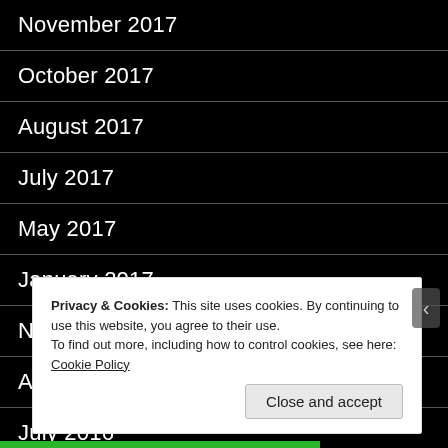November 2017
October 2017
August 2017
July 2017
May 2017
January 2017
November 2016
August 2016
July 2016
Privacy & Cookies: This site uses cookies. By continuing to use this website, you agree to their use.
To find out more, including how to control cookies, see here: Cookie Policy
Close and accept